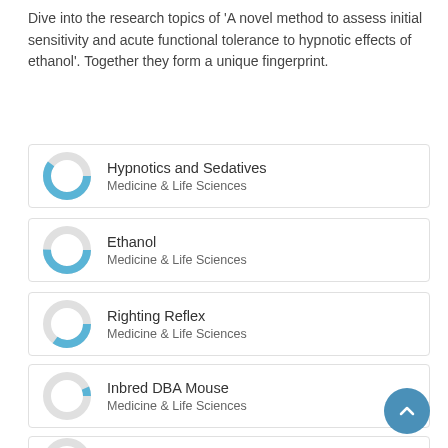Dive into the research topics of 'A novel method to assess initial sensitivity and acute functional tolerance to hypnotic effects of ethanol'. Together they form a unique fingerprint.
[Figure (donut-chart): Donut chart for Hypnotics and Sedatives, mostly blue fill ~85%]
Hypnotics and Sedatives
Medicine & Life Sciences
[Figure (donut-chart): Donut chart for Ethanol, mostly blue fill ~75%]
Ethanol
Medicine & Life Sciences
[Figure (donut-chart): Donut chart for Righting Reflex, blue fill ~60%]
Righting Reflex
Medicine & Life Sciences
[Figure (donut-chart): Donut chart for Inbred DBA Mouse, small blue fill ~18%]
Inbred DBA Mouse
Medicine & Life Sciences
[Figure (donut-chart): Donut chart for Injections, small blue fill ~15%]
Injections
Medicine & Life Sciences